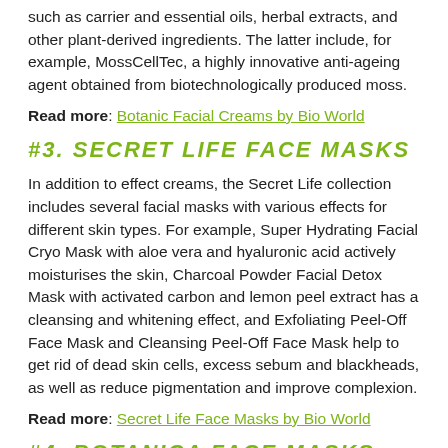such as carrier and essential oils, herbal extracts, and other plant-derived ingredients. The latter include, for example, MossCellTec, a highly innovative anti-ageing agent obtained from biotechnologically produced moss.
Read more: Botanic Facial Creams by Bio World
#3. Secret Life Face Masks
In addition to effect creams, the Secret Life collection includes several facial masks with various effects for different skin types. For example, Super Hydrating Facial Cryo Mask with aloe vera and hyaluronic acid actively moisturises the skin, Charcoal Powder Facial Detox Mask with activated carbon and lemon peel extract has a cleansing and whitening effect, and Exfoliating Peel-Off Face Mask and Cleansing Peel-Off Face Mask help to get rid of dead skin cells, excess sebum and blackheads, as well as reduce pigmentation and improve complexion.
Read more: Secret Life Face Masks by Bio World
#4. Botanica Face Masks